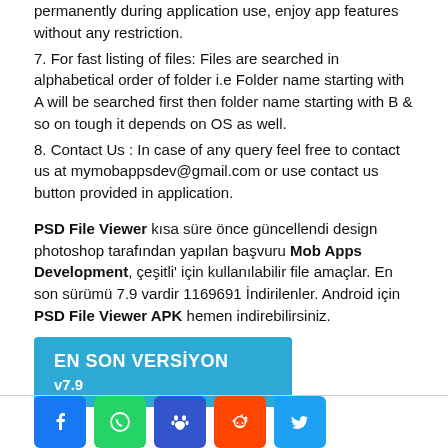permanently during application use, enjoy app features without any restriction.
7. For fast listing of files: Files are searched in alphabetical order of folder i.e Folder name starting with A will be searched first then folder name starting with B & so on tough it depends on OS as well.
8. Contact Us : In case of any query feel free to contact us at mymobappsdev@gmail.com or use contact us button provided in application.
PSD File Viewer kısa süre önce güncellendi design photoshop tarafından yapılan başvuru Mob Apps Development, çeşitli' için kullanılabilir file amaçlar. En son sürümü 7.9 vardir 1169691 İndirilenler. Android için PSD File Viewer APK hemen indirebilirsiniz.
[Figure (infographic): Blue button showing EN SON VERSİYON v7.9]
[Figure (infographic): Social media icon buttons: Facebook, WhatsApp, Paw/Baidu, Reddit, Twitter]